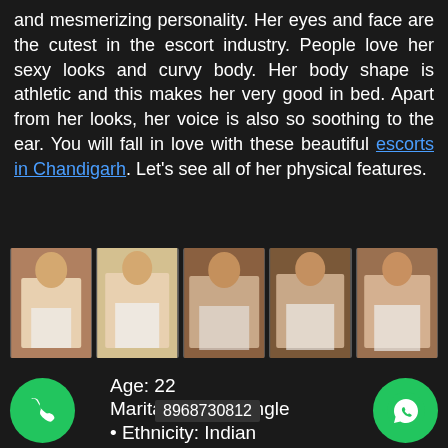and mesmerizing personality. Her eyes and face are the cutest in the escort industry. People love her sexy looks and curvy body. Her body shape is athletic and this makes her very good in bed. Apart from her looks, her voice is also so soothing to the ear. You will fall in love with these beautiful escorts in Chandigarh. Let's see all of her physical features.
[Figure (photo): Row of five photos showing a woman in various poses]
Age: 22
Marital Status: Single
Ethnicity: Indian